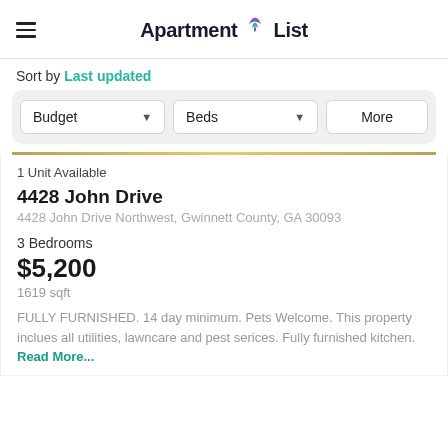Apartment List
Sort by Last updated
Budget   Beds   More
1 Unit Available
4428 John Drive
4428 John Drive Northwest, Gwinnett County, GA 30093
3 Bedrooms
$5,200
1619 sqft
FULLY FURNISHED. 14 day minimum. Pets Welcome. This property inclues all utilities, lawncare and pest serices. Fully furnished kitchen. Read More...